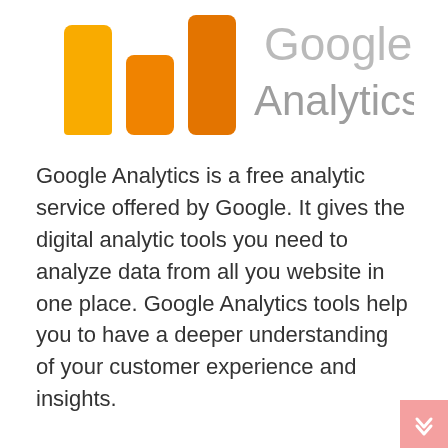[Figure (logo): Google Analytics logo: colorful bar chart icon in yellow/orange on left, and 'Google Analytics' text in gray on the right]
Google Analytics is a free analytic service offered by Google. It gives the digital analytic tools you need to analyze data from all you website in one place. Google Analytics tools help you to have a deeper understanding of your customer experience and insights.
Basically, Google Analytics helps you to collect data from your websites. This data is then transformed into useful information for you to